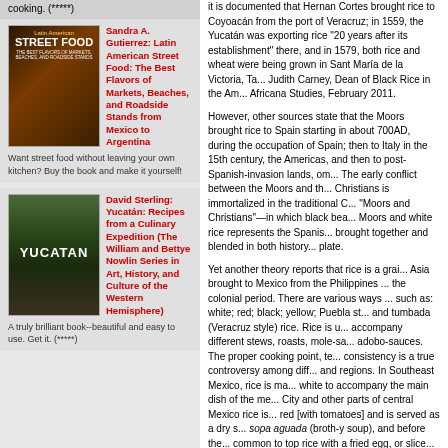cooking. (*****)
[Figure (illustration): Book cover for Latin American Street Food by Sandra A. Gutierrez]
Sandra A. Gutierrez: Latin American Street Food: The Best Flavors of Markets, Beaches, and Roadside Stands from Mexico to Argentina
Want street food without leaving your own kitchen? Buy the book and make it yourself!
[Figure (illustration): Book cover for Yucatan: Recipes from a Culinary Expedition by David Sterling]
David Sterling: Yucatán: Recipes from a Culinary Expedition (The William and Bettye Nowlin Series in Art, History, and Culture of the Western Hemisphere)
A truly brilliant book--beautiful and easy to use. Get it. (*****)
it is documented that Hernan Cortes brought rice to Coyoacán from the port of Veracruz; in 1559, the Yucatán was exporting rice "20 years after its establishment" there, and in 1579, both rice and wheat were being grown in Sant Maria de la Victoria, Tabasco. Judith Carney, Dean of Black Rice in the Americas, Africana Studies, February 2011.
However, other sources state that the Moors brought rice to Spain starting in about 700AD, during the occupation of Spain; then to Italy in the 15th century, the Americas, and then to post-Spanish-invasion lands, once colonized. The early conflict between the Moors and the Spanish Christians is immortalized in the traditional Cuban dish "Moors and Christians"—in which black beans represents the Moors and white rice represents the Spanish who were brought together and blended in both history and on the plate.
Yet another theory reports that rice is a grain from Asia brought to Mexico from the Philippines during the colonial period. There are various ways to cook rice, such as: white; red; black; yellow; Puebla style; tumbada and tumbada (Veracruz style) rice. Rice is used to accompany different stews, roasts, mole-sauces, and adobo-sauces. The proper cooking point, texture, and consistency is a true controversy among different cooks and regions. In Southeast Mexico, rice is mainly cooked white to accompany the main dish of the meal. In Mexico City and other parts of central Mexico rice is served red [with tomatoes] and is served as a dry soup before sopa aguada (broth-y soup), and before the main dish. It is common to top rice with a fried egg, or sliced plantain banana, or even mole. This seems highly logical since another source says that until 1802 the Spaniards took rice to be a pagan cereal unfit for Christian consumption, almost 300 years after first contact!